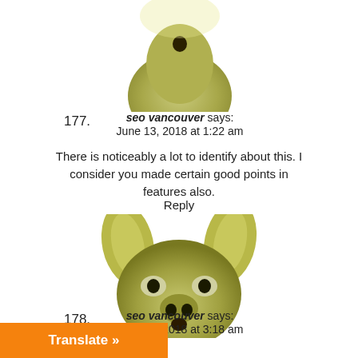[Figure (photo): Top portion of a clay or ceramic animal head figure, yellowish-green, shown from above, cropped at top of page]
177.
seo vancouver says:
June 13, 2018 at 1:22 am
There is noticeably a lot to identify about this. I consider you made certain good points in features also.
Reply
[Figure (photo): A clay or ceramic deer/animal head figure with large ears, small eyes, and open mouth, yellowish-green in color]
178.
seo vancouver says:
June 13, 2018 at 3:18 am
Translate »